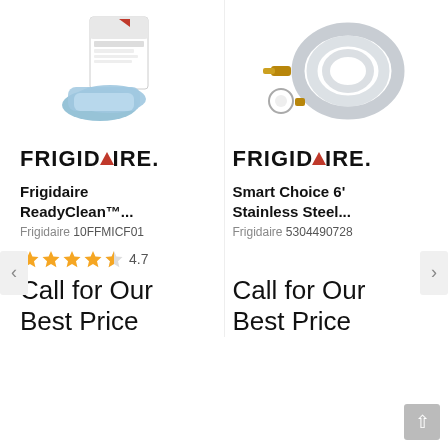[Figure (photo): Frigidaire ReadyClean microfiber cloth product in packaging]
[Figure (photo): Smart Choice 6' Stainless Steel water hose with fittings and tape]
[Figure (logo): Frigidaire brand logo - left product]
Frigidaire ReadyClean™...
Frigidaire 10FFMICF01
[Figure (logo): Frigidaire brand logo - right product]
Smart Choice 6' Stainless Steel...
Frigidaire 5304490728
4.7
Call for Our Best Price
Call for Our Best Price